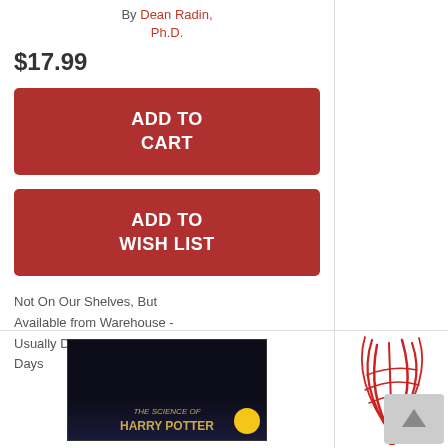By Dean Radin, Ph.D.
$17.99
ADD TO CART
ADD TO WISH LIST
Not On Our Shelves, But Available from Warehouse - Usually Delivers in 3-14 Days
[Figure (photo): Book cover for 'The Science of Harry Potter' with dark background and golden text]
[Figure (logo): Red stylized quill/feather logo with letter i at bottom]